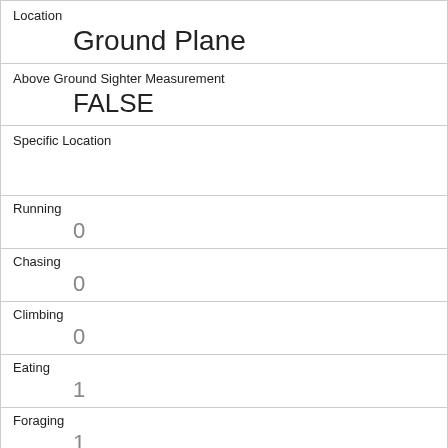Location
Ground Plane
Above Ground Sighter Measurement
FALSE
Specific Location
Running
0
Chasing
0
Climbing
0
Eating
1
Foraging
1
Other Activities
eating (mushroom)
Kuks
0